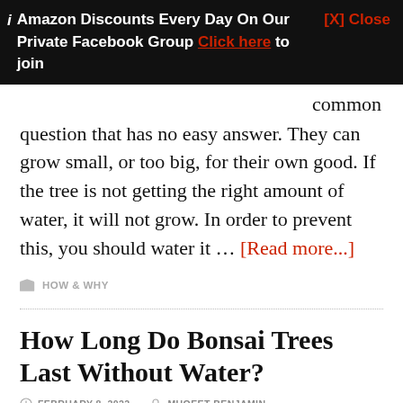Amazon Discounts Every Day On Our Private Facebook Group Click here to join [X] Close
common question that has no easy answer. They can grow small, or too big, for their own good. If the tree is not getting the right amount of water, it will not grow. In order to prevent this, you should water it … [Read more...]
HOW & WHY
How Long Do Bonsai Trees Last Without Water?
FEBRUARY 8, 2022  MUQEET BENJAMIN